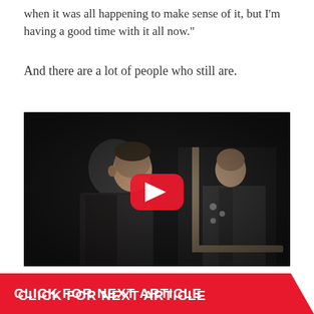when it was all happening to make sense of it, but I'm having a good time with it all now.”
And there are a lot of people who still are.
[Figure (screenshot): Black and white film still showing two people, one in profile in the foreground and one in a mirror or doorway in the background wearing a military uniform, with a YouTube play button overlay in the center]
CLICK FOR NEXT ARTICLE